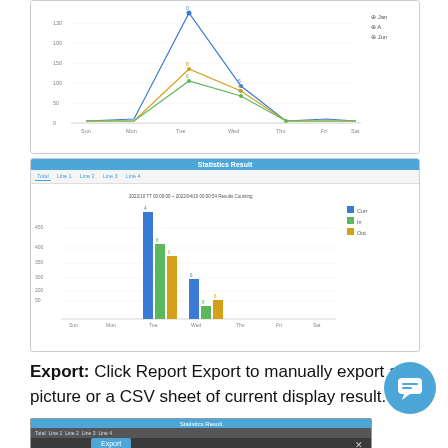[Figure (line-chart): Line chart showing traffic data (Jan, Mon, Tue, Wed, Thu, Fri, Sat) with three series: Jan, A, Jun]
[Figure (grouped-bar-chart): Grouped bar chart showing Curr, In, Out data for days Sun, Mon, Tue, Wed, Thu, Fri, Sat with date range 2022/10 TT 00:00:00 - 2022/04/10 00:00:54 Results Counting]
Export: Click Report Export to manually export a picture or a CSV sheet of current display result.
[Figure (screenshot): Screenshot of Statistics Result panel with Export button and dark theme]